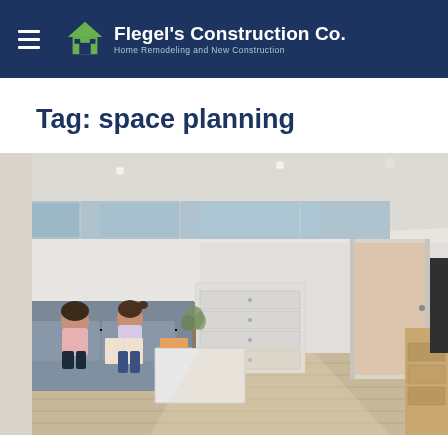Flegel's Construction Co. — Home Remodeling and New Construction
Tag: space planning
[Figure (photo): Interior photo of a modern living room with two children sitting on a grey sofa reading a book, a white coffee table with books and a plant, a white dresser against the wall, large horizontal clerestory window letting in natural light, and an open doorway leading to another room. Wooden floor visible.]